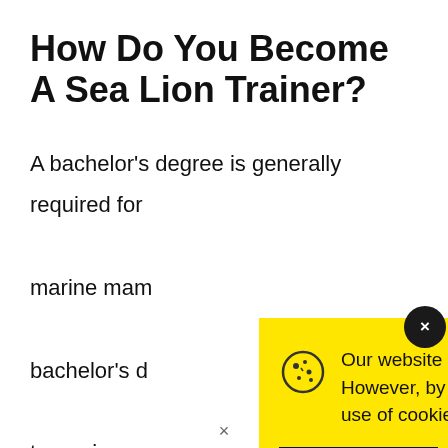How Do You Become A Sea Lion Trainer?
A bachelor’s degree is generally required for marine mam… bachelor’s d… to marine ma… aquariums p… in life scienc…
[Figure (screenshot): Cookie consent popup with yellow background. Text reads: 'Our website uses cookies to provide you the best experience. However, by continuing to use our website, you agree to our use of cookies. For more information, read our Cookie Policy.' with an Accept button and a close (x) button.]